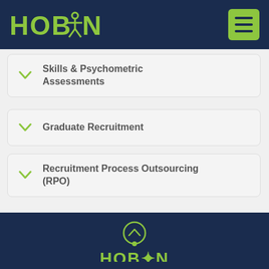HOBAN
Skills & Psychometric Assessments
Graduate Recruitment
Recruitment Process Outsourcing (RPO)
HOBAN